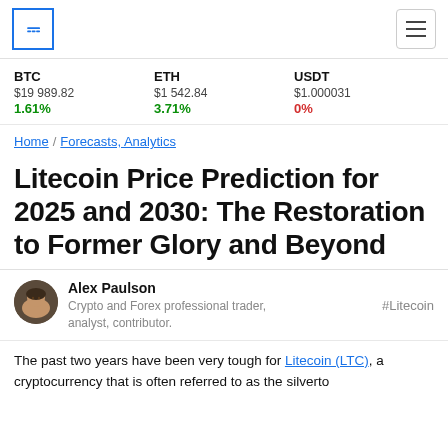Coinpedia logo and navigation
BTC $19 989.82 1.61%
ETH $1 542.84 3.71%
USDP $1.000031 0%
Home / Forecasts, Analytics
Litecoin Price Prediction for 2025 and 2030: The Restoration to Former Glory and Beyond
Alex Paulson
Crypto and Forex professional trader, analyst, contributor.
#Litecoin
The past two years have been very tough for Litecoin (LTC), a cryptocurrency that is often referred to as the silverto